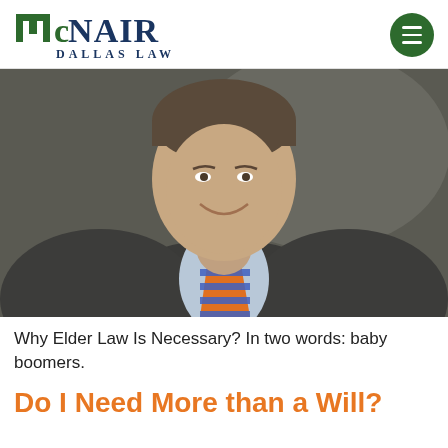McNair Dallas Law
[Figure (photo): Professional headshot of a middle-aged man in a grey houndstooth suit with an orange and blue striped tie, smiling, against a dark grey studio background.]
Why Elder Law Is Necessary? In two words: baby boomers.
Do I Need More than a Will?